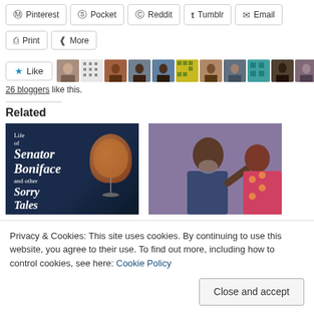Pinterest
Pocket
Reddit
Tumblr
Email
Print
More
[Figure (other): Like button with star icon followed by a row of 11 blogger avatar thumbnails]
26 bloggers like this.
Related
[Figure (illustration): Book cover: 'Life of Senator Boniface and other Sorry Tales' with cocktail glass graphic]
[Figure (photo): Photo of an older man with grey beard gesturing, with another person in patterned clothing visible beside him]
Privacy & Cookies: This site uses cookies. By continuing to use this website, you agree to their use. To find out more, including how to control cookies, see here: Cookie Policy
Close and accept